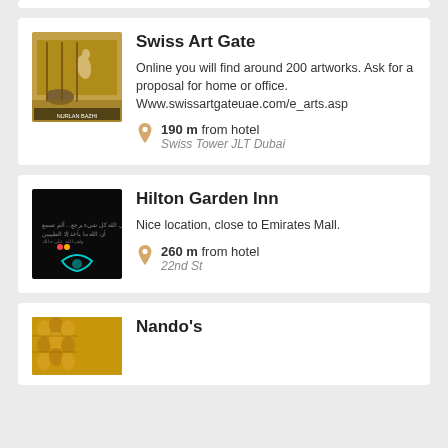[Figure (photo): Partial white card at top (cut off)]
Swiss Art Gate
Online you will find around 200 artworks. Ask for a proposal for home or office. Www.swissartgateuae.com/e_arts.asp
190 m from hotel
Swiss Tower JLT Dubai
Hilton Garden Inn
Nice location, close to Emirates Mall.
260 m from hotel
22nd St
Nando's